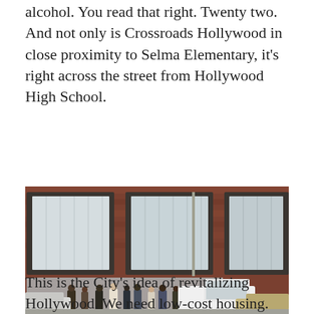alcohol. You read that right. Twenty two. And not only is Crossroads Hollywood in close proximity to Selma Elementary, it's right across the street from Hollywood High School.
[Figure (photo): Exterior photo of the front of the Dream Hotel, a modern brick building with large windows, people standing outside, and cars parked in front.]
The front of the Dream Hotel.
This is the City's idea of revitalizing Hollywood. We need low-cost housing. They give us high-end hotels. We need